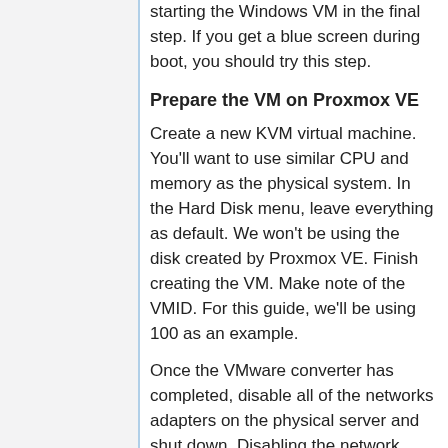starting the Windows VM in the final step. If you get a blue screen during boot, you should try this step.
Prepare the VM on Proxmox VE
Create a new KVM virtual machine. You'll want to use similar CPU and memory as the physical system. In the Hard Disk menu, leave everything as default. We won't be using the disk created by Proxmox VE. Finish creating the VM. Make note of the VMID. For this guide, we'll be using 100 as an example.
Once the VMware converter has completed, disable all of the networks adapters on the physical server and shut down. Disabling the network adapters will avoid potential IP conflicts if you will start the physical server back into Windows after you have your new virtual